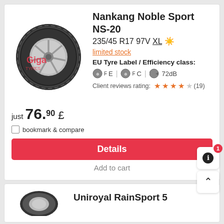[Figure (photo): Nankang Noble Sport NS-20 tyre with Giga Tyres watermark]
Nankang Noble Sport NS-20
235/45 R17 97V XL ☀ limited stock EU Tyre Label / Efficiency class: E | C | 72dB Client reviews rating: ★★★★☆ (19)
just 76.90 £
bookmark & compare
Details
Add to cart
[Figure (photo): Uniroyal RainSport 5 tyre partial view]
Uniroyal RainSport 5